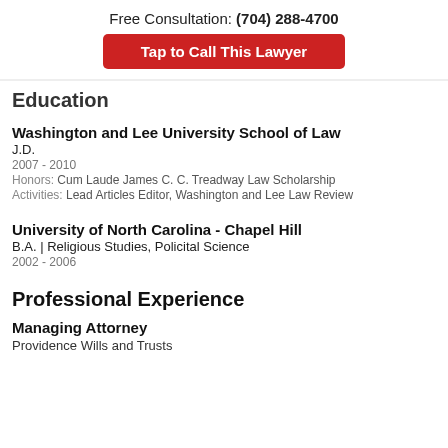Free Consultation: (704) 288-4700
[Figure (other): Red button: Tap to Call This Lawyer]
Education
Washington and Lee University School of Law
J.D.
2007 - 2010
Honors: Cum Laude James C. C. Treadway Law Scholarship
Activities: Lead Articles Editor, Washington and Lee Law Review
University of North Carolina - Chapel Hill
B.A. | Religious Studies, Policital Science
2002 - 2006
Professional Experience
Managing Attorney
Providence Wills and Trusts